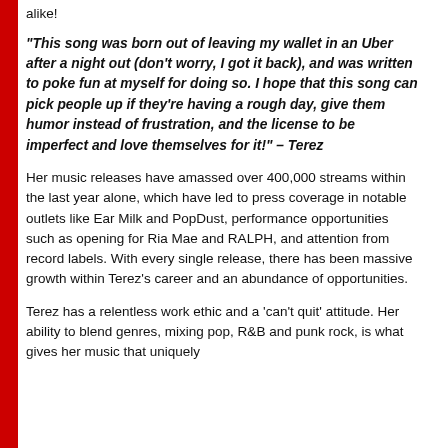alike!
“This song was born out of leaving my wallet in an Uber after a night out (don’t worry, I got it back), and was written to poke fun at myself for doing so. I hope that this song can pick people up if they’re having a rough day, give them humor instead of frustration, and the license to be imperfect and love themselves for it!” – Terez
Her music releases have amassed over 400,000 streams within the last year alone, which have led to press coverage in notable outlets like Ear Milk and PopDust, performance opportunities such as opening for Ria Mae and RALPH, and attention from record labels. With every single release, there has been massive growth within Terez’s career and an abundance of opportunities.
Terez has a relentless work ethic and a ‘can’t quit’ attitude. Her ability to blend genres, mixing pop, R&B and punk rock, is what gives her music that uniquely